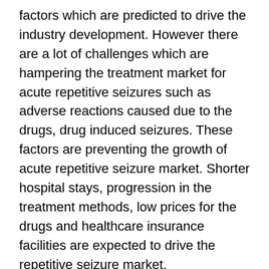factors which are predicted to drive the industry development. However there are a lot of challenges which are hampering the treatment market for acute repetitive seizures such as adverse reactions caused due to the drugs, drug induced seizures. These factors are preventing the growth of acute repetitive seizure market. Shorter hospital stays, progression in the treatment methods, low prices for the drugs and healthcare insurance facilities are expected to drive the repetitive seizure market.
Browse Full Report with TOC- https://www.factmr.com/report/3188/acute-repetitive-seizures-market
Geographically, global Acute Repetitive seizure